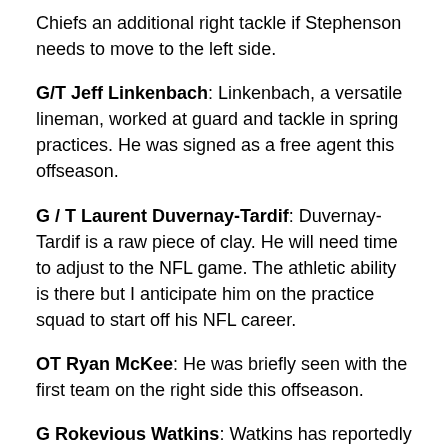Chiefs an additional right tackle if Stephenson needs to move to the left side.
G/T Jeff Linkenbach: Linkenbach, a versatile lineman, worked at guard and tackle in spring practices. He was signed as a free agent this offseason.
G / T Laurent Duvernay-Tardif: Duvernay-Tardif is a raw piece of clay. He will need time to adjust to the NFL game. The athletic ability is there but I anticipate him on the practice squad to start off his NFL career.
OT Ryan McKee: He was briefly seen with the first team on the right side this offseason.
G Rokevious Watkins: Watkins has reportedly been suspended four games for violating the NFL's substance abuse policy. It's the second time Watkins